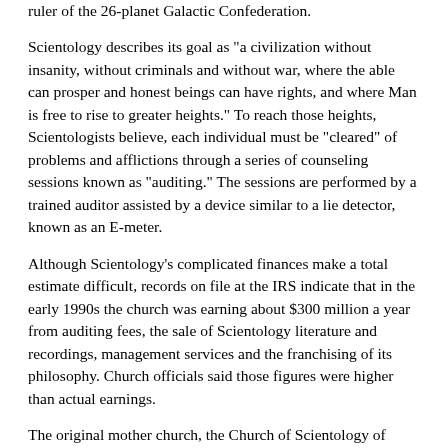ruler of the 26-planet Galactic Confederation.
Scientology describes its goal as "a civilization without insanity, without criminals and without war, where the able can prosper and honest beings can have rights, and where Man is free to rise to greater heights." To reach those heights, Scientologists believe, each individual must be "cleared" of problems and afflictions through a series of counseling sessions known as "auditing." The sessions are performed by a trained auditor assisted by a device similar to a lie detector, known as an E-meter.
Although Scientology's complicated finances make a total estimate difficult, records on file at the IRS indicate that in the early 1990s the church was earning about $300 million a year from auditing fees, the sale of Scientology literature and recordings, management services and the franchising of its philosophy. Church officials said those figures were higher than actual earnings.
The original mother church, the Church of Scientology of California, was established by Hubbard in Los Angeles in 1954. Three years later, it was recognized as tax exempt by the IRS. But in 1967, the agency stripped the church of its exemption, and a fierce struggle broke out between the agency and the church.
In its revocation letter, the agency said that Scientology's activities were commercial and that it was being operated for the benefit of